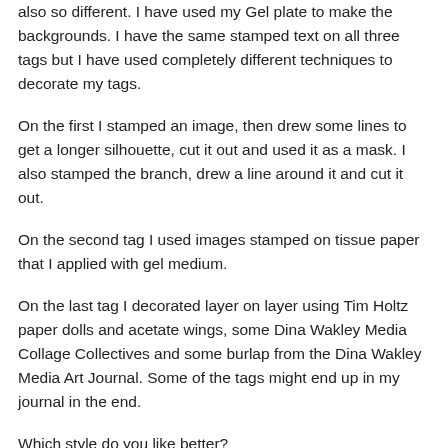also so different. I have used my Gel plate to make the backgrounds. I have the same stamped text on all three tags but I have used completely different techniques to decorate my tags.
On the first I stamped an image, then drew some lines to get a longer silhouette, cut it out and used it as a mask. I also stamped the branch, drew a line around it and cut it out.
On the second tag I used images stamped on tissue paper that I applied with gel medium.
On the last tag I decorated layer on layer using Tim Holtz paper dolls and acetate wings, some Dina Wakley Media Collage Collectives and some burlap from the Dina Wakley Media Art Journal. Some of the tags might end up in my journal in the end.
Which style do you like better?
Alone we can do so little – but together we can do so